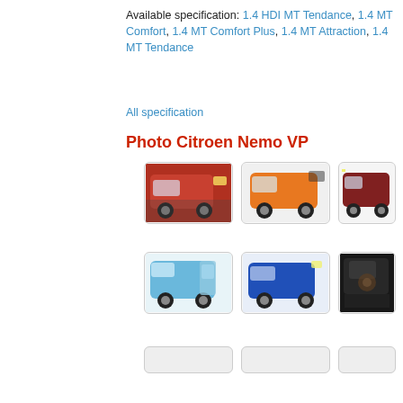Available specification: 1.4 HDI MT Tendance, 1.4 MT Comfort, 1.4 MT Comfort Plus, 1.4 MT Attraction, 1.4 MT Tendance
All specification
Photo Citroen Nemo VP
[Figure (photo): Red Citroen Nemo VP van, front-side view, driving on road]
[Figure (photo): Orange Citroen Nemo VP van, rear-side view]
[Figure (photo): Dark red Citroen Nemo VP van, rear-side view on white background]
[Figure (photo): Light blue Citroen Nemo VP van, rear doors open showing cargo area]
[Figure (photo): Blue Citroen Nemo VP van, front-side view]
[Figure (photo): Interior/dark image of Citroen Nemo VP]
[Figure (photo): Empty/loading thumbnail placeholder]
[Figure (photo): Empty/loading thumbnail placeholder]
[Figure (photo): Empty/loading thumbnail placeholder]